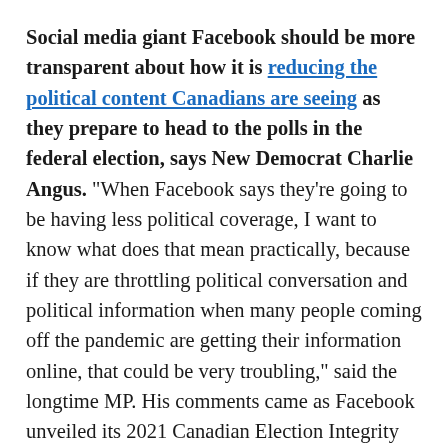Social media giant Facebook should be more transparent about how it is reducing the political content Canadians are seeing as they prepare to head to the polls in the federal election, says New Democrat Charlie Angus. "When Facebook says they're going to be having less political coverage, I want to know what does that mean practically, because if they are throttling political conversation and political information when many people coming off the pandemic are getting their information online, that could be very troubling," said the longtime MP. His comments came as Facebook unveiled its 2021 Canadian Election Integrity Initiative, which outlines steps it plans to take to prevent its platform from being used by bad actors to influence the election or to spread misinformation or disinformation. It also includes the continuation of a pilot project to reduce